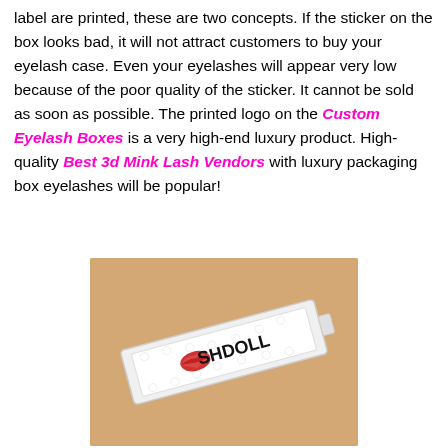label are printed, these are two concepts. If the sticker on the box looks bad, it will not attract customers to buy your eyelash case. Even your eyelashes will appear very low because of the poor quality of the sticker. It cannot be sold as soon as possible. The printed logo on the Custom Eyelash Boxes is a very high-end luxury product. High-quality Best 3d Mink Lash Vendors with luxury packaging box eyelashes will be popular!
[Figure (photo): Photo of an eyelash box with LED lights and a lip logo reading LASH DOLL, placed on a tan/beige background]